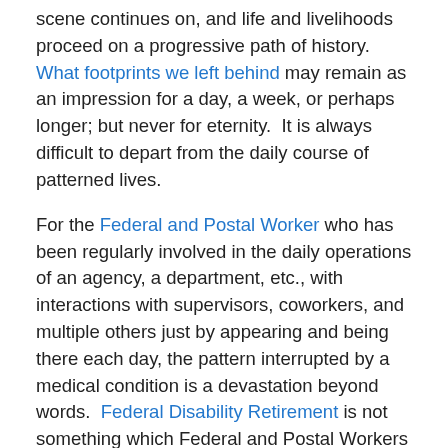scene continues on, and life and livelihoods proceed on a progressive path of history.  What footprints we left behind may remain as an impression for a day, a week, or perhaps longer; but never for eternity.  It is always difficult to depart from the daily course of patterned lives.
For the Federal and Postal Worker who has been regularly involved in the daily operations of an agency, a department, etc., with interactions with supervisors, coworkers, and multiple others just by appearing and being there each day, the pattern interrupted by a medical condition is a devastation beyond words.  Federal Disability Retirement is not something which Federal and Postal Workers want to pursue; it is, instead, a benefit which is applied for through the U.S. Office of Personnel Management, most often with hesitation, trepidation, and